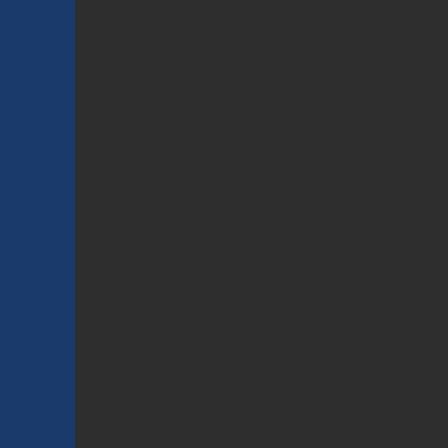for not just SCW, but for the mo... my family... he's always ha... challenge, I embrace it. Winn...
“It would probably be sweeter th...
Someone steps forwards and pa... woman with a wink of thanks. H...
“This is a match that will define... and I’m...
“I’m doing this because first a... entertain through my ability, and... CGI. Syren hasn’t been World C... won’t have time for games, s... ...it behind hi...